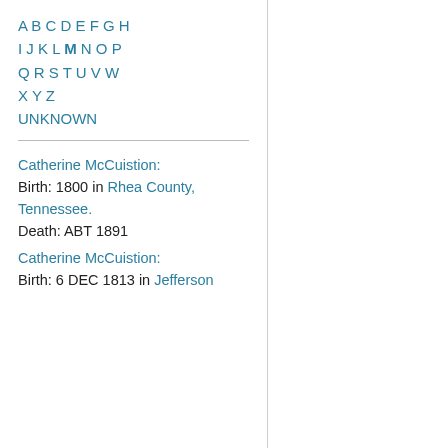A B C D E F G H I J K L M N O P Q R S T U V W X Y Z UNKNOWN
Catherine McCuistion: Birth: 1800 in Rhea County, Tennessee. Death: ABT 1891
Catherine McCuistion: Birth: 6 DEC 1813 in Jefferson